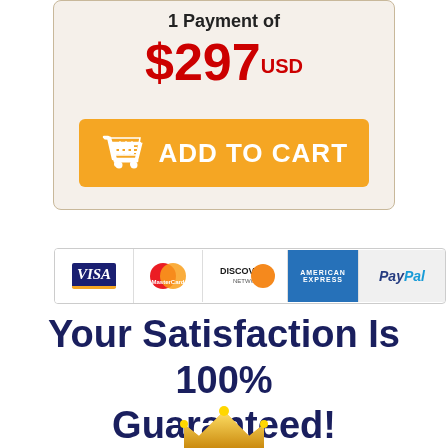1 Payment of $297 USD
[Figure (other): Orange ADD TO CART button with shopping cart icon]
[Figure (other): Payment logos: Visa, MasterCard, Discover Network, American Express, PayPal]
Your Satisfaction Is 100% Guaranteed!
[Figure (illustration): Gold crown/seal at bottom center]